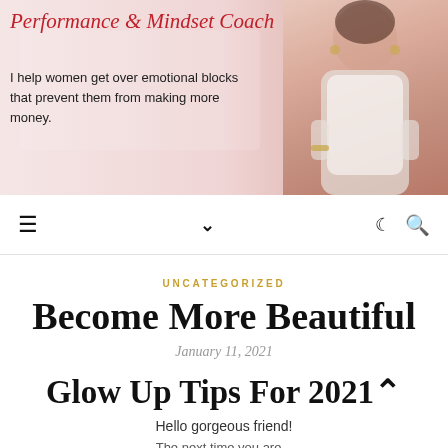[Figure (photo): Website banner with script text 'Performance & Mindset Coach' in red cursive, tagline text, and a woman in white blouse on the right side against a soft pink/rose background with money imagery]
[Figure (screenshot): Navigation bar with hamburger menu icon on left, chevron/down arrow in center, moon icon and search icon on right]
UNCATEGORIZED
Become More Beautiful
January 11, 2021
Glow Up Tips For 2021
Hello gorgeous friend!
The next time you are...